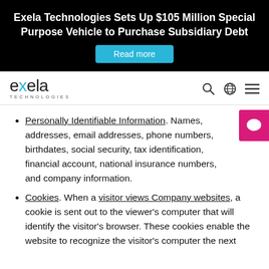Exela Technologies Sets Up $105 Million Special Purpose Vehicle to Purchase Subsidiary Debt
[Figure (screenshot): Read more button (cyan/teal background)]
[Figure (logo): Exela Technologies logo with navigation icons]
Personally Identifiable Information. Names, addresses, email addresses, phone numbers, birthdates, social security, tax identification, financial account, national insurance numbers, and company information.
Cookies. When a visitor views Company websites, a cookie is sent out to the viewer's computer that will identify the visitor's browser. These cookies enable the website to recognize the visitor's computer the next